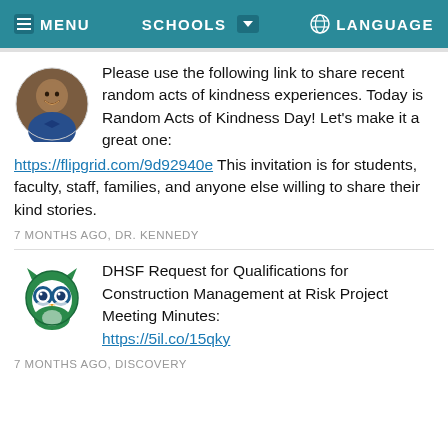MENU  SCHOOLS  LANGUAGE
[Figure (photo): Circular avatar photo of a man in a blue bow tie, smiling]
Please use the following link to share recent random acts of kindness experiences. Today is Random Acts of Kindness Day! Let's make it a great one: https://flipgrid.com/9d92940e This invitation is for students, faculty, staff, families, and anyone else willing to share their kind stories.
7 MONTHS AGO, DR. KENNEDY
[Figure (logo): DHSF owl mascot logo in green and blue]
DHSF Request for Qualifications for Construction Management at Risk Project Meeting Minutes: https://5il.co/15qky
7 MONTHS AGO, DISCOVERY